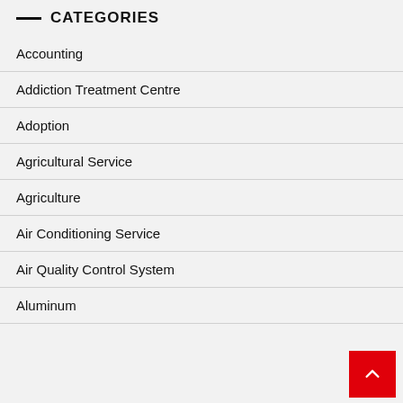CATEGORIES
Accounting
Addiction Treatment Centre
Adoption
Agricultural Service
Agriculture
Air Conditioning Service
Air Quality Control System
Aluminum